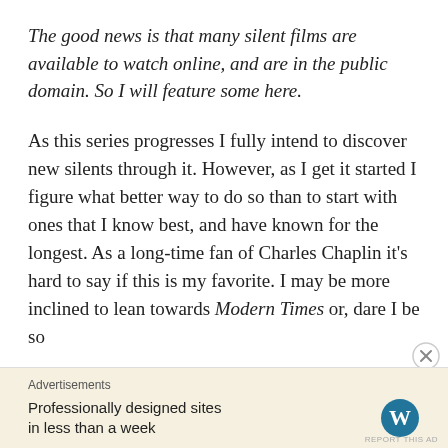The good news is that many silent films are available to watch online, and are in the public domain. So I will feature some here.
As this series progresses I fully intend to discover new silents through it. However, as I get it started I figure what better way to do so than to start with ones that I know best, and have known for the longest. As a long-time fan of Charles Chaplin it's hard to say if this is my favorite. I may be more inclined to lean towards Modern Times or, dare I be so
Advertisements
Professionally designed sites in less than a week